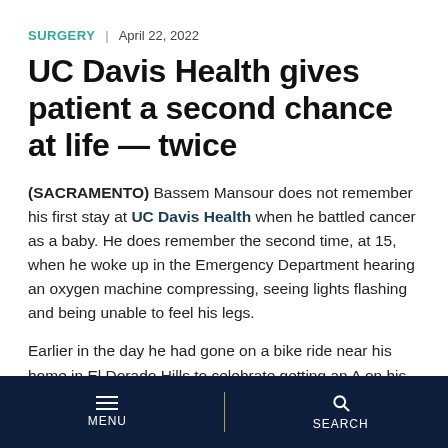SURGERY | April 22, 2022
UC Davis Health gives patient a second chance at life — twice
(SACRAMENTO) Bassem Mansour does not remember his first stay at UC Davis Health when he battled cancer as a baby. He does remember the second time, at 15, when he woke up in the Emergency Department hearing an oxygen machine compressing, seeing lights flashing and being unable to feel his legs.
Earlier in the day he had gone on a bike ride near his home in El Dorado Hills to celebrate getting an A on his
MENU | SEARCH